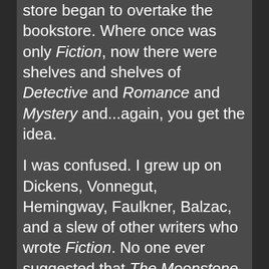store began to overtake the bookstore. Where once was only Fiction, now there were shelves and shelves of Detective and Romance and Mystery and...again, you get the idea.

I was confused. I grew up on Dickens, Vonnegut, Hemingway, Faulkner, Balzac, and a slew of other writers who wrote Fiction. No one ever suggested that The Moonstone by Wilkie Collins should be categorized as Detective Fiction or that A Tale of Two Cities was an Unrequited Romance novel. We had Fiction and Non-Fiction. Oh, and